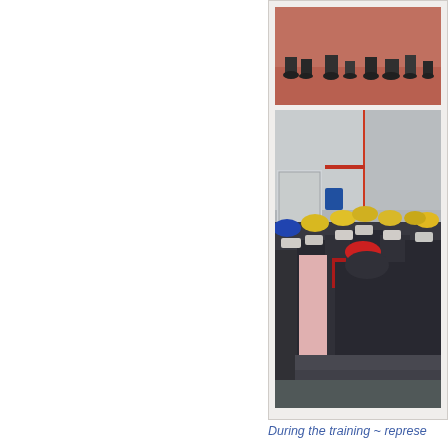[Figure (photo): Two photographs stacked vertically inside a card/frame on the right side of the page. Top photo shows people's feet/legs on a reddish-brown floor. Bottom photo shows a group of workers wearing yellow, red, and blue hard hats and face masks standing in an industrial warehouse/factory setting.]
During the training ~ represe